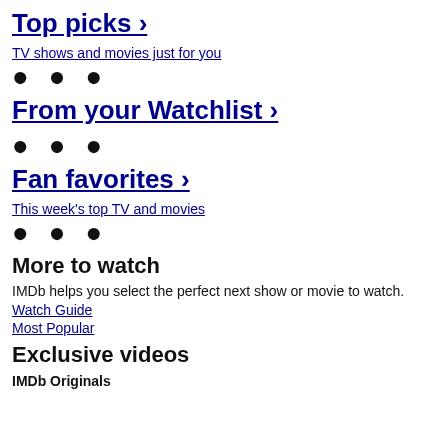Top picks ›
TV shows and movies just for you
● ● ●
From your Watchlist ›
● ● ●
Fan favorites ›
This week's top TV and movies
● ● ●
More to watch
IMDb helps you select the perfect next show or movie to watch.
Watch Guide
Most Popular
Exclusive videos
IMDb Originals